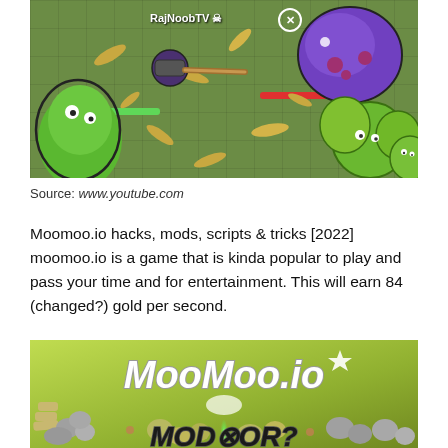[Figure (screenshot): Screenshot of Moomoo.io game showing green grid arena with player named RajNoobTV, skull icon, X button, a green blob character, a purple blob enemy, green health bar, red health bar, and yellow worm collectibles scattered around.]
Source: www.youtube.com
Moomoo.io hacks, mods, scripts & tricks [2022] moomoo.io is a game that is kinda popular to play and pass your time and for entertainment. This will earn 84 (changed?) gold per second.
[Figure (screenshot): Screenshot showing MooMoo.io game title screen with white bold italic text 'MooMoo.io' and below it 'MOD OR?' text, on a yellow-green background with rocks, logs, and game objects scattered around. A green light beam/flash in the center.]